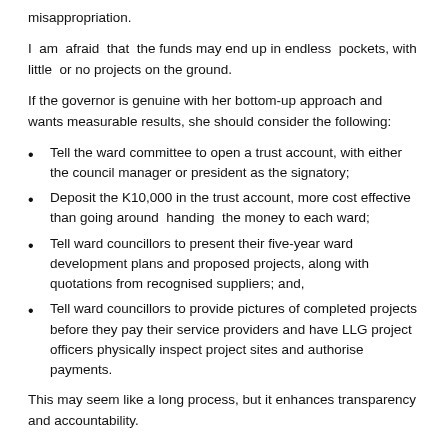misappropriation.
I am afraid that the funds may end up in endless pockets, with little or no projects on the ground.
If the governor is genuine with her bottom-up approach and wants measurable results, she should consider the following:
Tell the ward committee to open a trust account, with either the council manager or president as the signatory;
Deposit the K10,000 in the trust account, more cost effective than going around handing the money to each ward;
Tell ward councillors to present their five-year ward development plans and proposed projects, along with quotations from recognised suppliers; and,
Tell ward councillors to provide pictures of completed projects before they pay their service providers and have LLG project officers physically inspect project sites and authorise payments.
This may seem like a long process, but it enhances transparency and accountability.